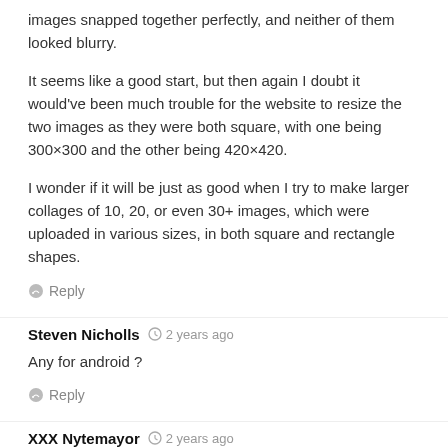images snapped together perfectly, and neither of them looked blurry.
It seems like a good start, but then again I doubt it would've been much trouble for the website to resize the two images as they were both square, with one being 300×300 and the other being 420×420.
I wonder if it will be just as good when I try to make larger collages of 10, 20, or even 30+ images, which were uploaded in various sizes, in both square and rectangle shapes.
Reply
Steven Nicholls  2 years ago
Any for android ?
Reply
XXX Nytemayor  2 years ago
Can you do a list on encryption software for Windows 10